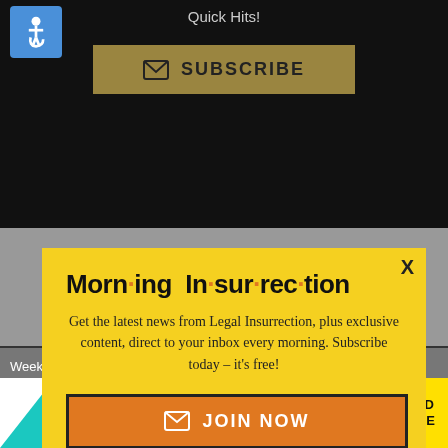Quick Hits!
[Figure (illustration): Accessibility wheelchair icon in blue square]
[Figure (illustration): Subscribe button with envelope icon on dark gold/olive background]
[Figure (infographic): Morning Insurrection modal popup on yellow background with JOIN NOW button]
Weekend Editor
ler Ed
Back to Top
Leslie
Author
[Figure (illustration): The Perspective advertisement banner: PERSP-ROTIVE SEE WHAT YOU'RE MISSING, READ MORE]